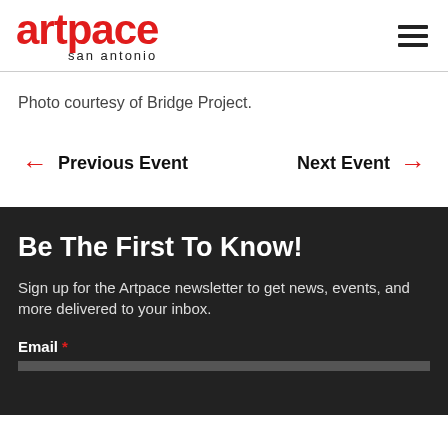[Figure (logo): Artpace San Antonio logo in red and black]
Photo courtesy of Bridge Project.
← Previous Event
Next Event →
Be The First To Know!
Sign up for the Artpace newsletter to get news, events, and more delivered to your inbox.
Email *